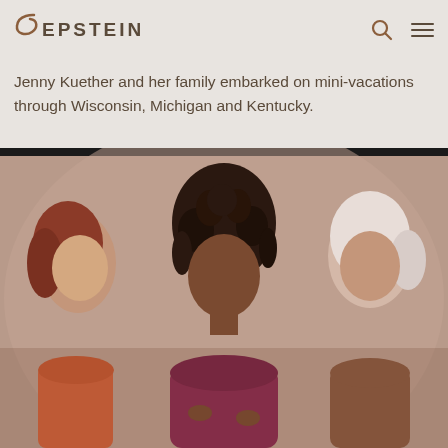EPSTEIN
Jenny Kuether and her family embarked on mini-vacations through Wisconsin, Michigan and Kentucky.
[Figure (illustration): Flat vector illustration of three women of diverse ethnicities standing together against a warm brown/mauve background. Left figure has reddish-brown hair and wears an orange-red outfit. Center figure has dark curly hair and wears a deep magenta/wine top. Right figure has light gray/white hair and wears a brown top. Style is modern flat illustration.]